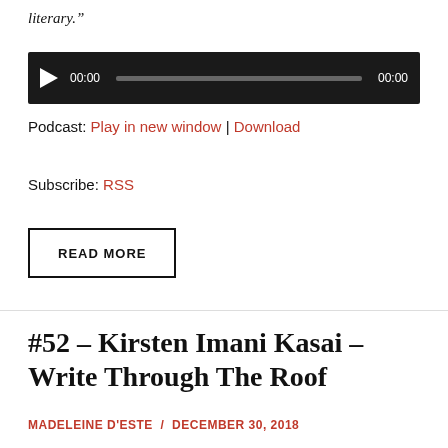literary.”
[Figure (other): Audio player widget with play button, 00:00 start time, progress bar, and 00:00 end time on dark background]
Podcast: Play in new window | Download
Subscribe: RSS
READ MORE
#52 – Kirsten Imani Kasai – Write Through The Roof
MADELEINE D'ESTE / DECEMBER 30, 2018